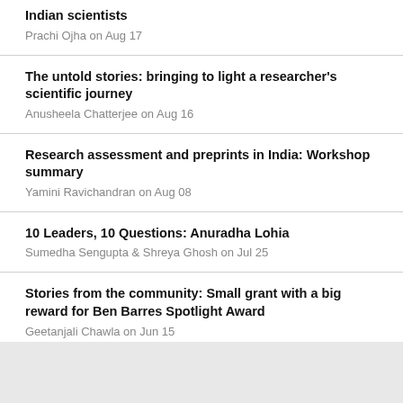Indian scientists
Prachi Ojha on Aug 17
The untold stories: bringing to light a researcher's scientific journey
Anusheela Chatterjee on Aug 16
Research assessment and preprints in India: Workshop summary
Yamini Ravichandran on Aug 08
10 Leaders, 10 Questions: Anuradha Lohia
Sumedha Sengupta & Shreya Ghosh on Jul 25
Stories from the community: Small grant with a big reward for Ben Barres Spotlight Award
Geetanjali Chawla on Jun 15